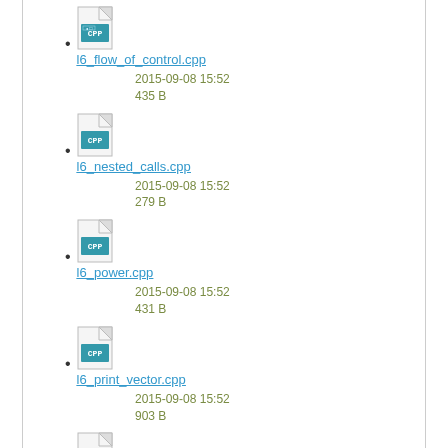l6_flow_of_control.cpp
2015-09-08 15:52
435 B
l6_nested_calls.cpp
2015-09-08 15:52
279 B
l6_power.cpp
2015-09-08 15:52
431 B
l6_print_vector.cpp
2015-09-08 15:52
903 B
l6_print_vector.cpp (continued icon)